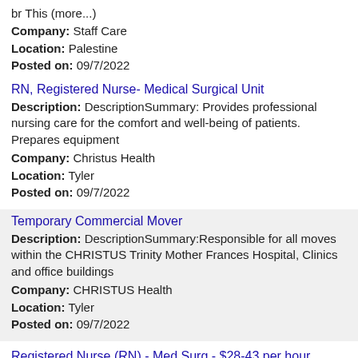br This (more...)
Company: Staff Care
Location: Palestine
Posted on: 09/7/2022
RN, Registered Nurse- Medical Surgical Unit
Description: DescriptionSummary: Provides professional nursing care for the comfort and well-being of patients. Prepares equipment
Company: Christus Health
Location: Tyler
Posted on: 09/7/2022
Temporary Commercial Mover
Description: DescriptionSummary:Responsible for all moves within the CHRISTUS Trinity Mother Frances Hospital, Clinics and office buildings
Company: CHRISTUS Health
Location: Tyler
Posted on: 09/7/2022
Registered Nurse (RN) - Med Surg - $28-43 per hour
Description: UT Health East Texas is seeking a Registered Nurse RN Med Surg for a nursing job in Tyler, Texas.Job Description